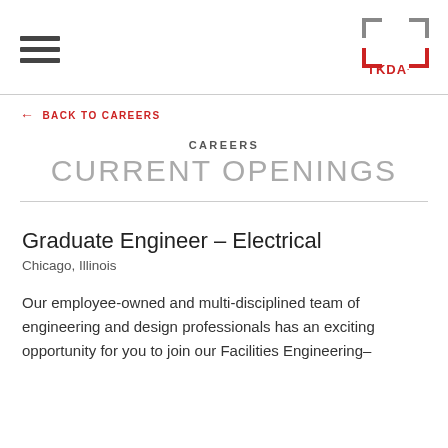[Figure (logo): TKDA logo with bracket corners in gray and red]
← BACK TO CAREERS
CAREERS
CURRENT OPENINGS
Graduate Engineer – Electrical
Chicago, Illinois
Our employee-owned and multi-disciplined team of engineering and design professionals has an exciting opportunity for you to join our Facilities Engineering-